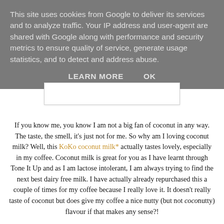This site uses cookies from Google to deliver its services and to analyze traffic. Your IP address and user-agent are shared with Google along with performance and security metrics to ensure quality of service, generate usage statistics, and to detect and address abuse.
LEARN MORE    OK
If you know me, you know I am not a big fan of coconut in any way. The taste, the smell, it's just not for me. So why am I loving coconut milk? Well, this KoKo coconut milk* actually tastes lovely, especially in my coffee. Coconut milk is great for you as I have learnt through Tone It Up and as I am lactose intolerant, I am always trying to find the next best dairy free milk. I have actually already repurchased this a couple of times for my coffee because I really love it. It doesn't really taste of coconut but does give my coffee a nice nutty (but not coconutty) flavour if that makes any sense?!